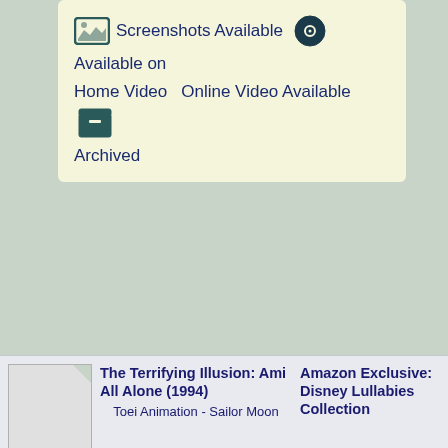Screenshots Available   Available on Home Video   Online Video Available   Archived
The Terrifying Illusion: Ami All Alone (1994)   Amazon Exclusive: Disney Lullabies Collection
Toei Animation - Sailor Moon
Best of the Boys (1994)
Toei Animation - Dragon Ball Z
The Dark Gate is Completed? The Targeted Elementary School (1994)